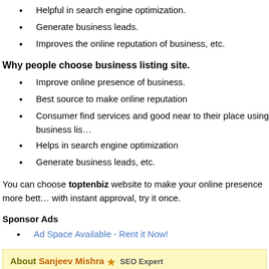Helpful in search engine optimization.
Generate business leads.
Improves the online reputation of business, etc.
Why people choose business listing site.
Improve online presence of business.
Best source to make online reputation
Consumer find services and good near to their place using business lis…
Helps in search engine optimization
Generate business leads, etc.
You can choose toptenbiz website to make your online presence more bett… with instant approval, try it once.
Sponsor Ads
Ad Space Available - Rent it Now!
About Sanjeev Mishra ★ SEO Expert
49 connections, 1 recommendations, 159 honor points.